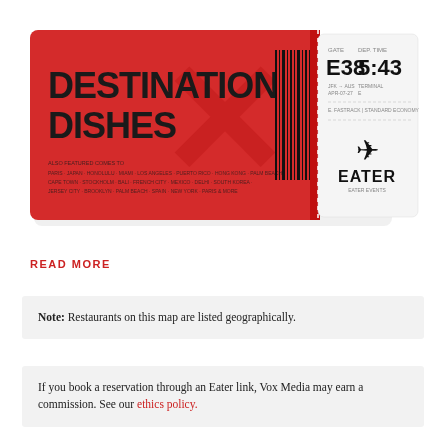[Figure (illustration): Boarding pass style ticket graphic. Left portion is red with large black bold text 'DESTINATION DISHES' and small text below listing destinations, plus a barcode on the right edge. Right stub is white/light gray with seat 'E38', departure time '5:43', and airline-style info with airplane icon and 'EATER' branding.]
READ MORE
Note: Restaurants on this map are listed geographically.
If you book a reservation through an Eater link, Vox Media may earn a commission. See our ethics policy.